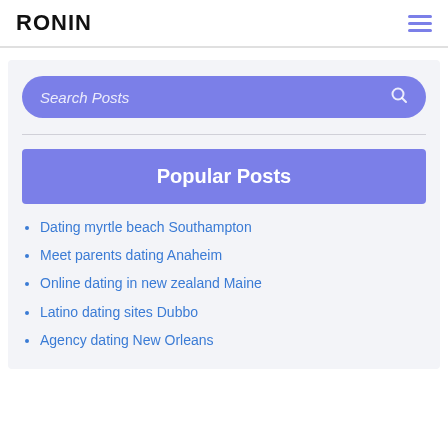RONIN
Search Posts
Popular Posts
Dating myrtle beach Southampton
Meet parents dating Anaheim
Online dating in new zealand Maine
Latino dating sites Dubbo
Agency dating New Orleans